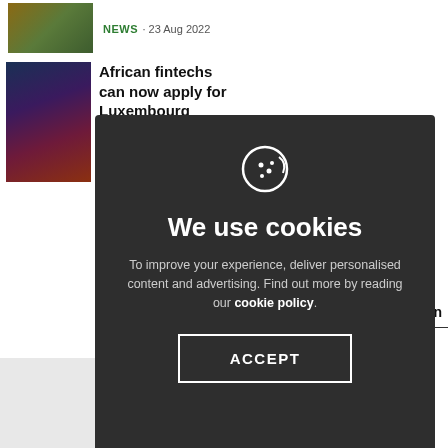NEWS · 23 Aug 2022
African fintechs can now apply for Luxembourg accelerator
usion in
Surfing
[Figure (other): Cookie consent modal dialog with dark background. Shows cookie icon, title 'We use cookies', body text 'To improve your experience, deliver personalised content and advertising. Find out more by reading our cookie policy.' and an ACCEPT button.]
We use cookies
To improve your experience, deliver personalised content and advertising. Find out more by reading our cookie policy.
ACCEPT